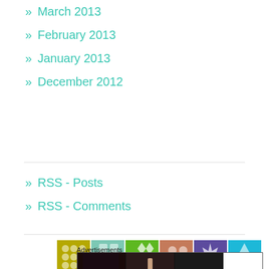» March 2013
» February 2013
» January 2013
» December 2012
» RSS - Posts
» RSS - Comments
[Figure (screenshot): Grid of colorful avatar/follower icons in various patterns: olive/gold diamond pattern, teal cross pattern, green/white pattern, brown floral pattern, purple snowflake pattern, blue diamond pattern, then second row with a circular logo, a photo of hands with jewelry, a blue silhouette avatar, green pattern]
Advertisements
[Figure (screenshot): Ulta Beauty advertisement banner showing makeup imagery including red lips, makeup brush, eye with mascara, Ulta Beauty logo, dramatic eye makeup, and SHOP NOW text]